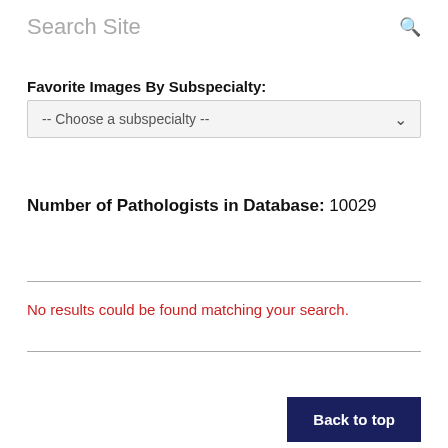Search Site
Favorite Images By Subspecialty:
-- Choose a subspecialty --
Number of Pathologists in Database: 10029
No results could be found matching your search.
Back to top